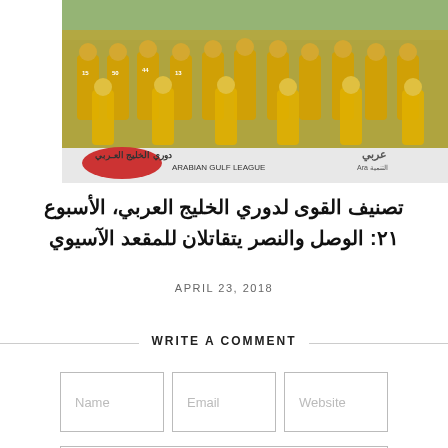[Figure (photo): Football/soccer team photo showing players in yellow uniforms with Arabian Gulf League banner visible at the bottom of the image]
تصنيف القوى لدوري الخليج العربي، الأسبوع ٢١: الوصل والنصر يتقاتلان للمقعد الآسيوي
APRIL 23, 2018
WRITE A COMMENT